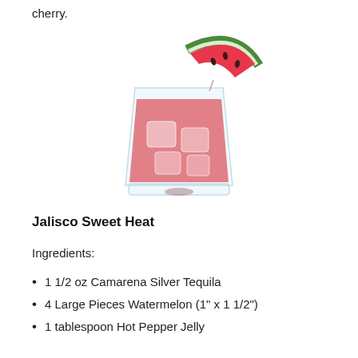cherry.
[Figure (photo): A short tumbler glass filled with pink-red liquid and ice cubes, garnished with a triangular slice of watermelon on the rim.]
Jalisco Sweet Heat
Ingredients:
1 1/2 oz Camarena Silver Tequila
4 Large Pieces Watermelon (1" x 1 1/2")
1 tablespoon Hot Pepper Jelly